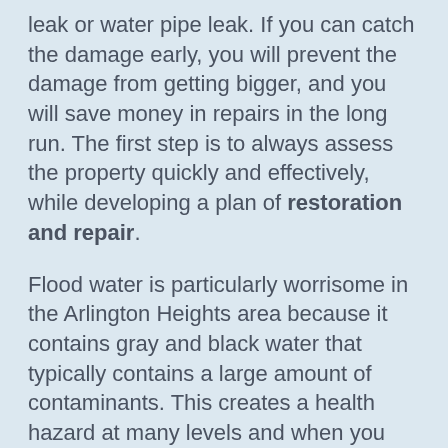leak or water pipe leak. If you can catch the damage early, you will prevent the damage from getting bigger, and you will save money in repairs in the long run. The first step is to always assess the property quickly and effectively, while developing a plan of restoration and repair.
Flood water is particularly worrisome in the Arlington Heights area because it contains gray and black water that typically contains a large amount of contaminants. This creates a health hazard at many levels and when you combine warm weather with humidity, it creates the ideal place for mold growth. Water can destroy the structure of your house and cause electrical problems. Our highly experienced restoration team of professionals knows exactly how to take care of these problems quickly and efficiently. After we remove the water using our high-tech equipment, we can start the restoration process. Some of the services that